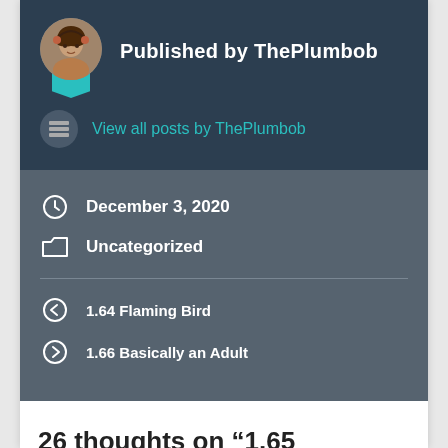Published by ThePlumbob
View all posts by ThePlumbob
December 3, 2020
Uncategorized
1.64 Flaming Bird
1.66 Basically an Adult
26 thoughts on “1.65 Ordinary Child”